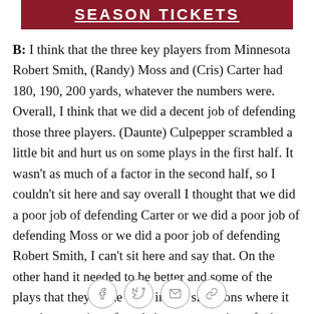SEASON TICKETS
B: I think that the three key players from Minnesota Robert Smith, (Randy) Moss and (Cris) Carter had 180, 190, 200 yards, whatever the numbers were. Overall, I think that we did a decent job of defending those three players. (Daunte) Culpepper scrambled a little bit and hurt us on some plays in the first half. It wasn't as much of a factor in the second half, so I couldn't sit here and say overall I thought that we did a poor job of defending Carter or we did a poor job of defending Moss or we did a poor job of defending Robert Smith, I can't sit here and say that. On the other hand it needed to be better and some of the plays that they made were in key situations where it wasn't a question of yards it was a question of what they needed at that time and they got it. So from that standpoint it wasn't as good as it could